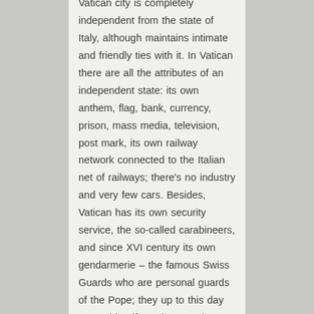Vatican city is completely independent from the state of Italy, although maintains intimate and friendly ties with it. In Vatican there are all the attributes of an independent state: its own anthem, flag, bank, currency, prison, mass media, television, post mark, its own railway network connected to the Italian net of railways; there's no industry and very few cars. Besides, Vatican has its own security service, the so-called carabineers, and since XVI century its own gendarmerie – the famous Swiss Guards who are personal guards of the Pope; they up to this day wear old uniform that may have been made according to Michelangelo's drawings.